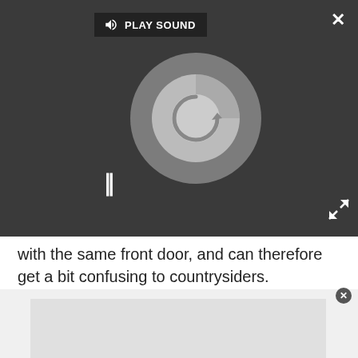[Figure (screenshot): Dark media player UI with 'PLAY SOUND' button, circular loading spinner, pause button (||), close X button, and expand arrows.]
with the same front door, and can therefore get a bit confusing to countrysiders.
Problem is, a visit to The City usually means coming home to a massive data bill shock, as, seeing as we can't use it here, most people opt for the bare minimum data allowance to get them through. Like, for example, BT Mobile's useless 500MB limit, that'll last a City Person about 45 minutes on iPlayer.